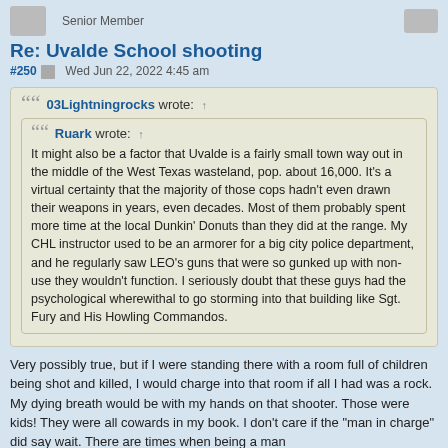Senior Member
Re: Uvalde School shooting
#250  Wed Jun 22, 2022 4:45 am
03Lightningrocks wrote: ↑
Ruark wrote: ↑ It might also be a factor that Uvalde is a fairly small town way out in the middle of the West Texas wasteland, pop. about 16,000. It's a virtual certainty that the majority of those cops hadn't even drawn their weapons in years, even decades. Most of them probably spent more time at the local Dunkin' Donuts than they did at the range. My CHL instructor used to be an armorer for a big city police department, and he regularly saw LEO's guns that were so gunked up with non-use they wouldn't function. I seriously doubt that these guys had the psychological wherewithal to go storming into that building like Sgt. Fury and His Howling Commandos.
Very possibly true, but if I were standing there with a room full of children being shot and killed, I would charge into that room if all I had was a rock. My dying breath would be with my hands on that shooter. Those were kids! They were all cowards in my book. I don't care if the "man in charge" did say wait. There are times when being a man